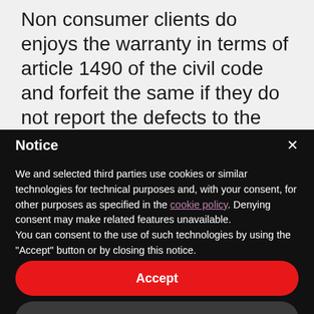Non consumer clients do enjoys the warranty in terms of article 1490 of the civil code and forfeit the same if they do not report the defects to the seller within eight days from discovery in terms of article 1495 of the italian civil code.
Notice
We and selected third parties use cookies or similar technologies for technical purposes and, with your consent, for other purposes as specified in the cookie policy. Denying consent may make related features unavailable.
You can consent to the use of such technologies by using the "Accept" button or by closing this notice.
Accept
Learn more and customize